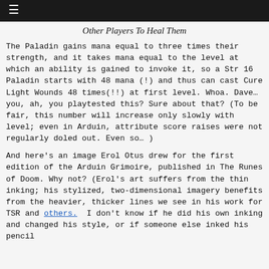Other Players To Heal Them
The Paladin gains mana equal to three times their strength, and it takes mana equal to the level at which an ability is gained to invoke it, so a Str 16 Paladin starts with 48 mana (!) and thus can cast Cure Light Wounds 48 times(!!) at first level. Whoa. Dave… you, ah, you playtested this? Sure about that? (To be fair, this number will increase only slowly with level; even in Arduin, attribute score raises were not regularly doled out. Even so… )
And here's an image Erol Otus drew for the first edition of the Arduin Grimoire, published in The Runes of Doom. Why not? (Erol's art suffers from the thin inking; his stylized, two-dimensional imagery benefits from the heavier, thicker lines we see in his work for TSR and others.  I don't know if he did his own inking and changed his style, or if someone else inked his pencil